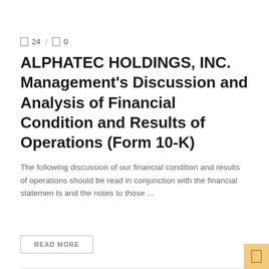24 / 0
ALPHATEC HOLDINGS, INC. Management's Discussion and Analysis of Financial Condition and Results of Operations (Form 10-K)
The following discussion of our financial condition and results of operations should be read in conjunction with the financial statemen ts and the notes to those ...
READ MORE
INTERNATIONAL BANKS